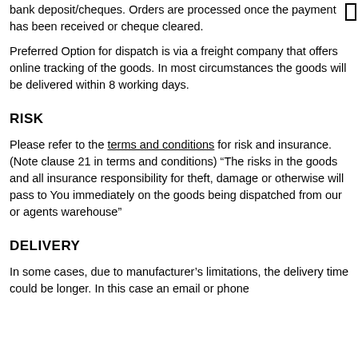bank deposit/cheques. Orders are processed once the payment has been received or cheque cleared.
Preferred Option for dispatch is via a freight company that offers online tracking of the goods. In most circumstances the goods will be delivered within 8 working days.
RISK
Please refer to the terms and conditions for risk and insurance. (Note clause 21 in terms and conditions) “The risks in the goods and all insurance responsibility for theft, damage or otherwise will pass to You immediately on the goods being dispatched from our or agents warehouse”
DELIVERY
In some cases, due to manufacturer’s limitations, the delivery time could be longer. In this case an email or phone